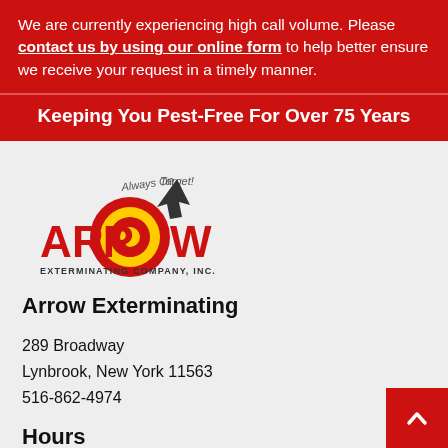We are currently experiencing high call volume. Please contact us by using our online form to help better ensure we receive your request in a timely manner.
Keeping You Pest-Free For Over 75 Years
[Figure (logo): Arrow Exterminating Company, Inc. logo with red text, yellow/red target bullseye design, black arrow cursor, and tagline 'Always On Target!']
Arrow Exterminating
289 Broadway
Lynbrook, New York 11563
516-862-4974
Hours